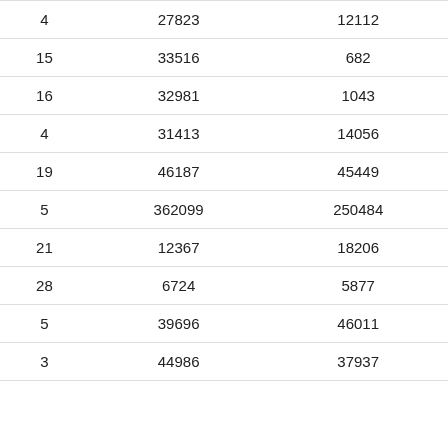| 4 | 27823 | 12112 |
| 15 | 33516 | 682 |
| 16 | 32981 | 1043 |
| 4 | 31413 | 14056 |
| 19 | 46187 | 45449 |
| 5 | 362099 | 250484 |
| 21 | 12367 | 18206 |
| 28 | 6724 | 5877 |
| 5 | 39696 | 46011 |
| 3 | 44986 | 37937 |